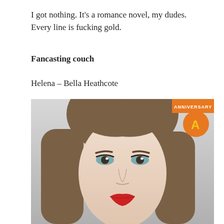I got nothing. It's a romance novel, my dudes. Every line is fucking gold.
Fancasting couch
Helena – Bella Heathcote
[Figure (photo): Photo of actress Bella Heathcote with straight brown hair and bangs, blue/green eyes, red lips, against a light gray background. An orange anniversary banner is visible in the upper right corner with yellow letter 'A'.]